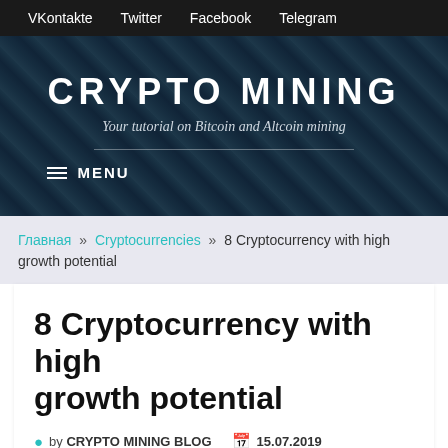VKontakte  Twitter  Facebook  Telegram
[Figure (other): Crypto Mining website hero banner with dark background showing chain/circuit pattern texture, site title CRYPTO MINING and subtitle Your tutorial on Bitcoin and Altcoin mining, with a MENU navigation button]
Главная » Cryptocurrencies » 8 Cryptocurrency with high growth potential
8 Cryptocurrency with high growth potential
by CRYPTO MINING BLOG  15.07.2019